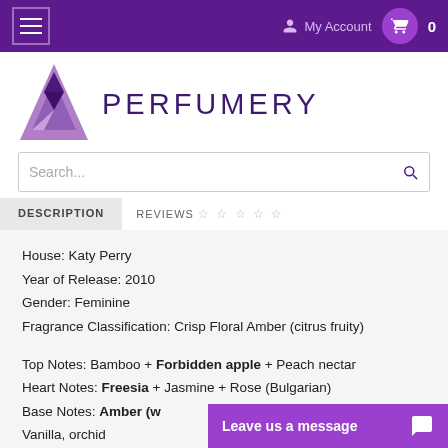My Account  0
[Figure (logo): Perfumery logo with purple triangle/mountain shape and text PERFUMERY]
Search...
DESCRIPTION   REVIEWS ☆ ☆ ☆ ☆ ☆
House: Katy Perry
Year of Release: 2010
Gender: Feminine
Fragrance Classification: Crisp Floral Amber (citrus fruity)
Top Notes: Bamboo + Forbidden apple + Peach nectar
Heart Notes: Freesia + Jasmine + Rose (Bulgarian)
Base Notes: Amber (w...
Vanilla, orchid
Leave us a message